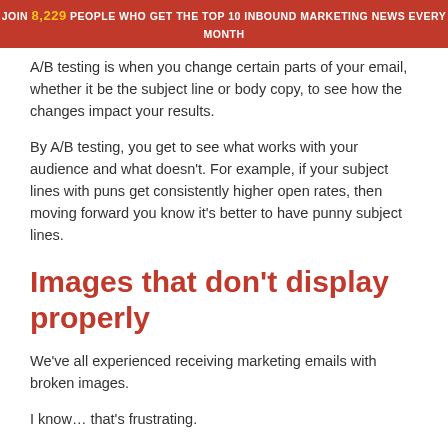JOIN 8,229 PEOPLE WHO GET THE TOP 10 INBOUND MARKETING NEWS EVERY MONTH
A/B testing is when you change certain parts of your email, whether it be the subject line or body copy, to see how the changes impact your results.
By A/B testing, you get to see what works with your audience and what doesn't. For example, if your subject lines with puns get consistently higher open rates, then moving forward you know it's better to have punny subject lines.
Images that don't display properly
We've all experienced receiving marketing emails with broken images.
I know… that's frustrating.
Although you can't always blame yourself or your email marketers for instances like this, because not all recipients can receive visual elements—some can only receive in plain text.